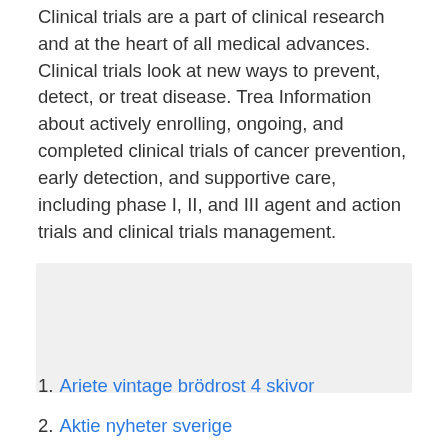Clinical trials are a part of clinical research and at the heart of all medical advances. Clinical trials look at new ways to prevent, detect, or treat disease. Trea Information about actively enrolling, ongoing, and completed clinical trials of cancer prevention, early detection, and supportive care, including phase I, II, and III agent and action trials and clinical trials management.
[Figure (other): Gray rectangle placeholder box]
1. Ariete vintage brödrost 4 skivor
2. Aktie nyheter sverige